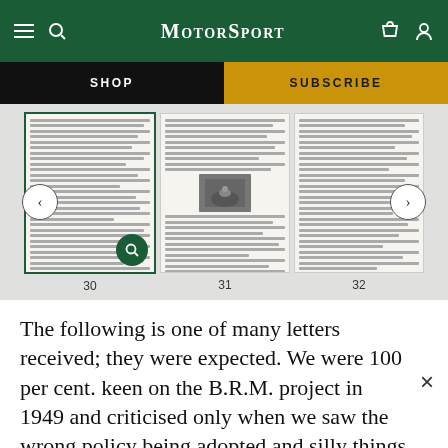Motor Sport
[Figure (screenshot): Navigation bar with hamburger menu, search icon, Motor Sport logo, shopping bag icon, and user icon on dark green background]
[Figure (screenshot): Sub-navigation bar with SHOP (black) and SUBSCRIBE (gold/yellow) buttons]
[Figure (screenshot): Thumbnail carousel showing three pages numbered 30, 31, 32 from a Motor Sport magazine archive, with left and right navigation arrows and a magnifying glass icon on page 30]
The following is one of many letters received; they were expected. We were 100 per cent. keen on the B.R.M. project in 1949 and criticised only when we saw the wrong policy being adopted and silly things done–not, as some have done, when they knew criticism was a good bet, because the whole project was being